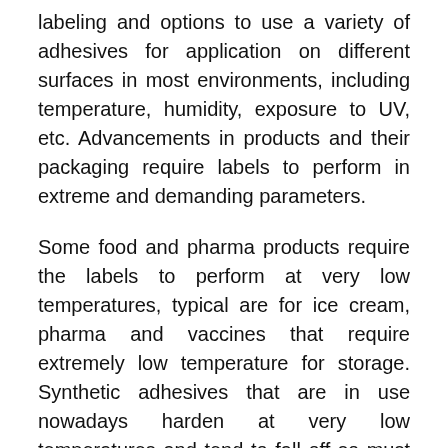labeling and options to use a variety of adhesives for application on different surfaces in most environments, including temperature, humidity, exposure to UV, etc. Advancements in products and their packaging require labels to perform in extreme and demanding parameters.
Some food and pharma products require the labels to perform at very low temperatures, typical are for ice cream, pharma and vaccines that require extremely low temperature for storage. Synthetic adhesives that are in use nowadays harden at very low temperatures and tend to fall off so must be formulated to withstand the application and storage conditions. These adhesive soften at high temperatures therefore signages and labels that must be used for outdoor in diverse environments, withstand UV light and